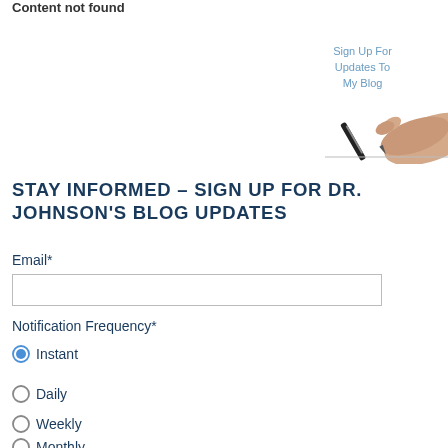Content not found
[Figure (illustration): Blog sign-up illustration: text 'Sign Up For Updates To My Blog' with a hand holding a pen over a line]
STAY INFORMED – SIGN UP FOR DR. JOHNSON'S BLOG UPDATES
Email*
Notification Frequency*
Instant (selected)
Daily
Weekly
Monthly